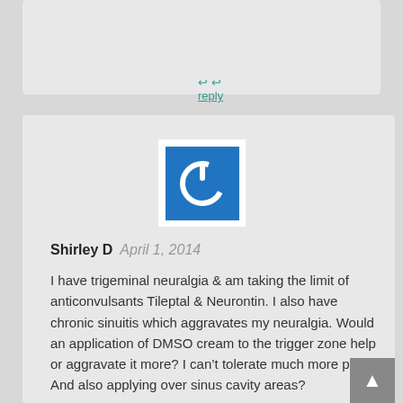reply
[Figure (logo): Blue power button icon on white square background]
Shirley D  April 1, 2014
I have trigeminal neuralgia & am taking the limit of anticonvulsants Tileptal & Neurontin. I also have chronic sinuitis which aggravates my neuralgia. Would an application of DMSO cream to the trigger zone help or aggravate it more? I can't tolerate much more pain. And also applying over sinus cavity areas?
reply